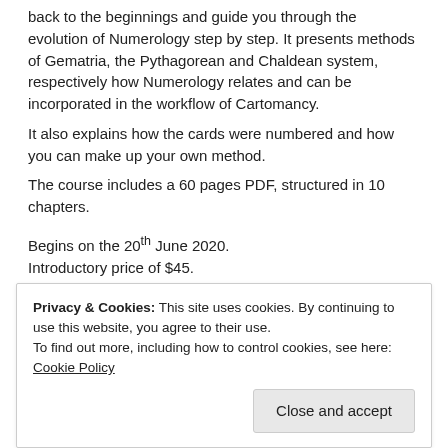back to the beginnings and guide you through the evolution of Numerology step by step. It presents methods of Gematria, the Pythagorean and Chaldean system, respectively how Numerology relates and can be incorporated in the workflow of Cartomancy.
It also explains how the cards were numbered and how you can make up your own method.
The course includes a 60 pages PDF, structured in 10 chapters.
Begins on the 20th June 2020.
Introductory price of $45.
– Three-week course
– Dedicated FB Group
– Group discussion with Attila
– Accompanying PDF Resource
– Mentored 10 session PDF Workbook
Privacy & Cookies: This site uses cookies. By continuing to use this website, you agree to their use.
To find out more, including how to control cookies, see here: Cookie Policy
Close and accept